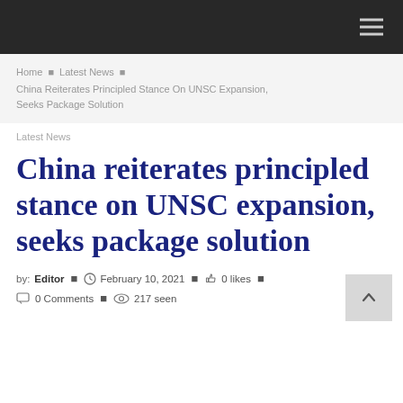≡
Home • Latest News • China Reiterates Principled Stance On UNSC Expansion, Seeks Package Solution
Latest News
China reiterates principled stance on UNSC expansion, seeks package solution
by: Editor • February 10, 2021 • 0 likes • 0 Comments • 217 seen